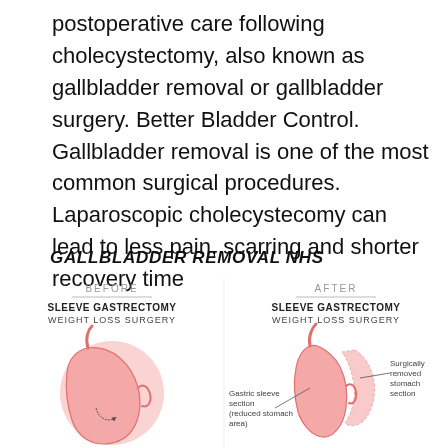postoperative care following cholecystectomy, also known as gallbladder removal or gallbladder surgery. Better Bladder Control. Gallbladder removal is one of the most common surgical procedures. Laparoscopic cholecystecomy can lead to less pain, scarring and shorter recovery time
GALLBLADDER REMOVAL NHS
[Figure (infographic): Before and After infographic showing Sleeve Gastrectomy Weight Loss Surgery. Left panel labeled BEFORE shows a normal stomach illustration in pink. Right panel labeled AFTER shows a smaller stomach with labels: 'Gastric sleeve section (reduced stomach area)' and 'Surgically removed stomach section'.]